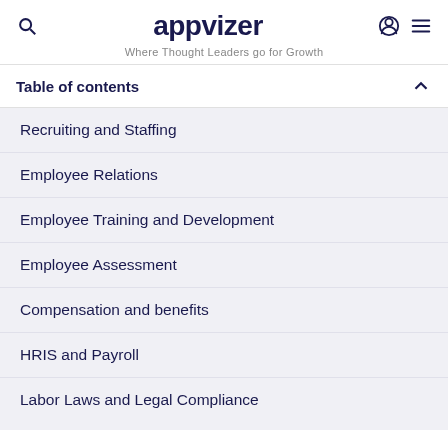appvizer — Where Thought Leaders go for Growth
Table of contents
Recruiting and Staffing
Employee Relations
Employee Training and Development
Employee Assessment
Compensation and benefits
HRIS and Payroll
Labor Laws and Legal Compliance